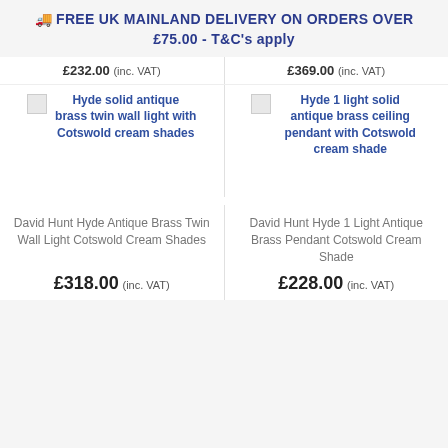🚚 FREE UK MAINLAND DELIVERY ON ORDERS OVER £75.00 - T&C's apply
£232.00 (inc. VAT)   £369.00 (inc. VAT)
[Figure (photo): Broken image placeholder for Hyde solid antique brass twin wall light with Cotswold cream shades]
[Figure (photo): Broken image placeholder for Hyde 1 light solid antique brass ceiling pendant with Cotswold cream shade]
David Hunt Hyde Antique Brass Twin Wall Light Cotswold Cream Shades
David Hunt Hyde 1 Light Antique Brass Pendant Cotswold Cream Shade
£318.00 (inc. VAT)
£228.00 (inc. VAT)